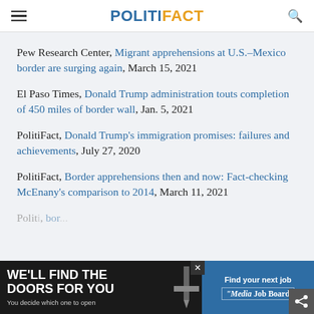POLITIFACT
Pew Research Center, Migrant apprehensions at U.S.-Mexico border are surging again, March 15, 2021
El Paso Times, Donald Trump administration touts completion of 450 miles of border wall, Jan. 5, 2021
PolitiFact, Donald Trump's immigration promises: failures and achievements, July 27, 2020
PolitiFact, Border apprehensions then and now: Fact-checking McEnany's comparison to 2014, March 11, 2021
PolitiFact, [partial: border...]
[Figure (other): Advertisement banner: 'We'll find the doors for you. You decide which one to open.' with Media Job Board logo and 'Find your next job' text.]